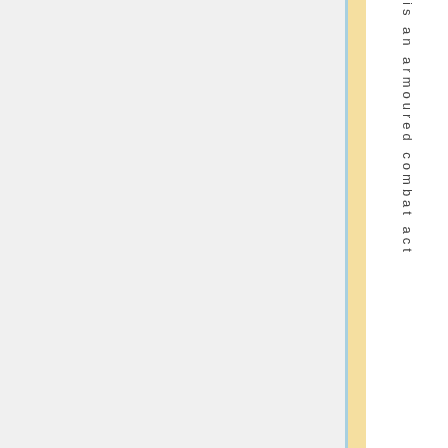[Figure (other): Blank light gray page area taking up the majority of the page on the left side, with a thin blue vertical line, a yellow/cream vertical band, and a white right margin containing vertically oriented text reading 'is an armoured combat act']
is an armoured combat act